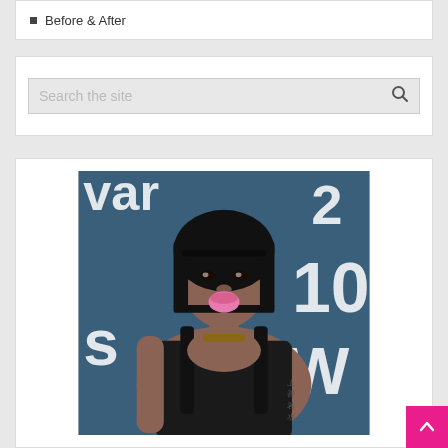Before & After
Search the site
[Figure (photo): A woman with a black bob haircut wearing a black outfit and gold necklace, posing in front of a blue awards show backdrop with large white letters.]